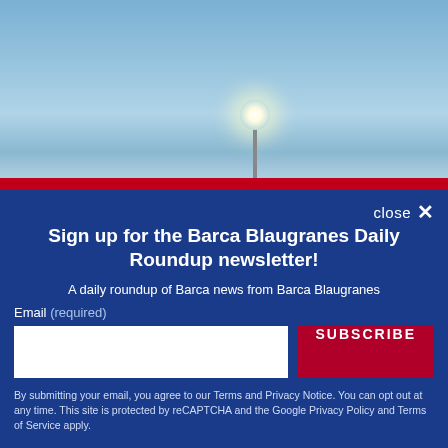[Figure (photo): Outdoor stadium or sports facility at dusk with a bright floodlight on a pole against a blue sky, red bar at the bottom of the image]
close ✕
Sign up for the Barca Blaugranes Daily Roundup newsletter!
A daily roundup of Barca news from Barca Blaugranes
Email (required)
SUBSCRIBE
By submitting your email, you agree to our Terms and Privacy Notice. You can opt out at any time. This site is protected by reCAPTCHA and the Google Privacy Policy and Terms of Service apply.